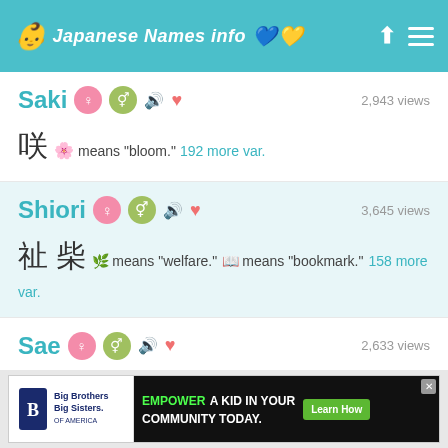Japanese Names info
Saki — 2,943 views
咲 means "bloom." 192 more var.
Shiori — 3,645 views
祉 柴 means "welfare." means "bookmark." 158 more var.
Sae — 2,633 views
咲 means "bloom." 127 more var.
[Figure (screenshot): Advertisement banner: Big Brothers Big Sisters — EMPOWER A KID IN YOUR COMMUNITY TODAY. Learn How]